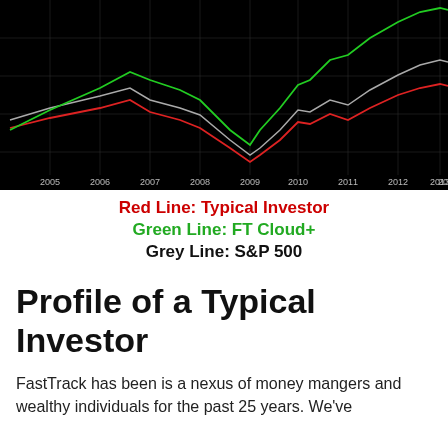[Figure (continuous-plot): Line chart on black background showing three lines from 2005 to 2014: red line (Typical Investor), green line (FT Cloud+), and grey line (S&P 500). Chart shows a sharp dip around 2009 (financial crisis) followed by recovery. Green line outperforms, grey line is moderate, red line underperforms.]
Red Line: Typical Investor
Green Line: FT Cloud+
Grey Line: S&P 500
Profile of a Typical Investor
FastTrack has been is a nexus of money mangers and wealthy individuals for the past 25 years. We've